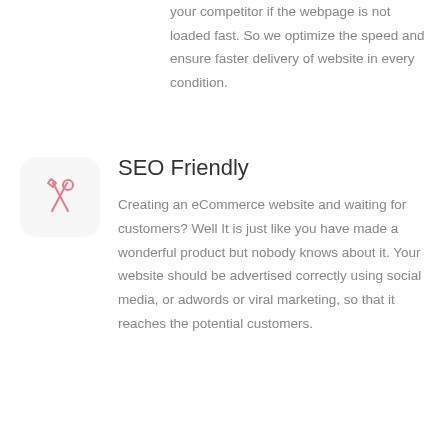your competitor if the webpage is not loaded fast. So we optimize the speed and ensure faster delivery of website in every condition.
[Figure (illustration): Tools/wrench and pen crossed icon in pink/red outline style, inside a light gray rounded rectangle box]
SEO Friendly
Creating an eCommerce website and waiting for customers? Well It is just like you have made a wonderful product but nobody knows about it. Your website should be advertised correctly using social media, or adwords or viral marketing, so that it reaches the potential customers.